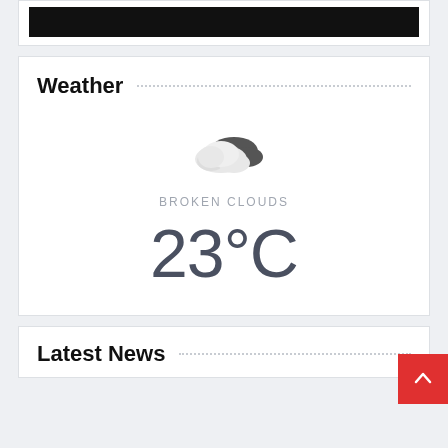[Figure (screenshot): Dark/black image strip at top of page inside a white card]
Weather
[Figure (illustration): Broken clouds weather icon — white cloud with dark cloud behind it]
BROKEN CLOUDS
23°C
Latest News